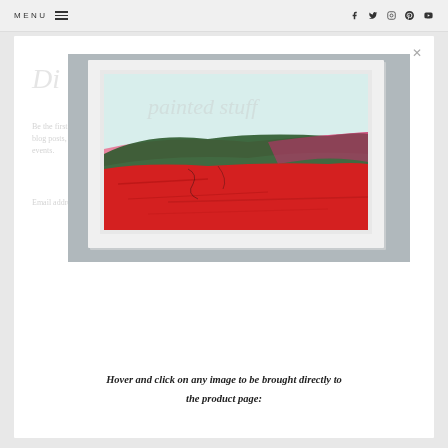MENU  [hamburger icon]  [facebook] [twitter] [instagram] [pinterest] [youtube]
[Figure (photo): A framed abstract landscape painting mounted on a grey wall. The painting features rolling hills with vibrant red in the foreground, dark green in the middle, and a light teal/blue sky with pink brushstrokes along the horizon.]
Hover and click on any image to be brought directly to the product page: